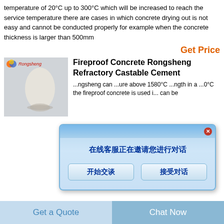temperature of 20°C up to 300°C which will be increased to reach the service temperature there are cases in which concrete drying out is not easy and cannot be conducted properly for example when the concrete thickness is larger than 500mm
Get Price
[Figure (photo): Product image of Rongsheng refractory castable cement with Rongsheng logo in corner]
Fireproof Concrete Rongsheng Refractory Castable Cement
Rongsheng can ...ure above 1580°C ...ngth in a ...0°C the fireproof concrete is used i... can be
[Figure (screenshot): Chinese chat popup dialog with text '在线客服正在邀请您进行对话' and two buttons '开始交谈' and '接受对话']
Get Price
[Figure (photo): Product image of fireproofing materials for petrochemical facilities]
MaterialsFireproofing For Petrochemical Facilities
Fireproofing materials concrete the excellent
Get a Quote
Chat Now